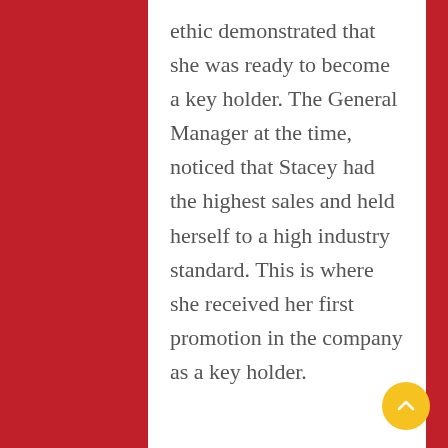ethic demonstrated that she was ready to become a key holder. The General Manager at the time, noticed that Stacey had the highest sales and held herself to a high industry standard. This is where she received her first promotion in the company as a key holder.